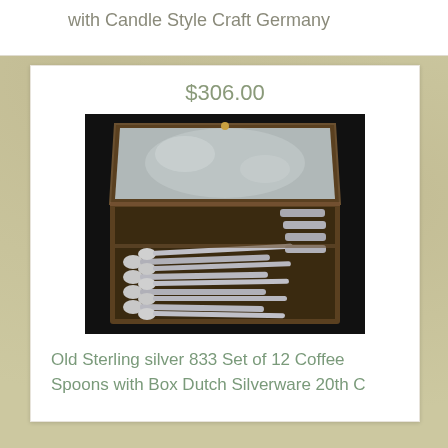with Candle Style Craft Germany
$306.00
[Figure (photo): An open rectangular display box lined with satin, containing a set of 12 sterling silver coffee spoons arranged in rows on a dark background.]
Old Sterling silver 833 Set of 12 Coffee Spoons with Box Dutch Silverware 20th C